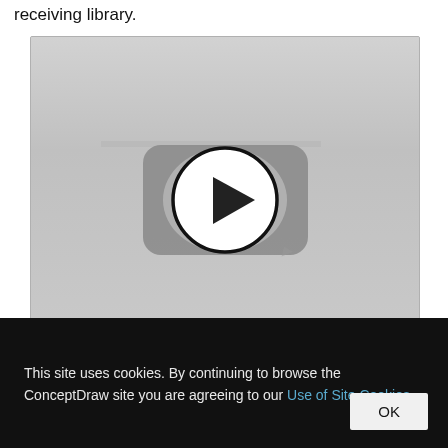receiving library.
[Figure (screenshot): Video player thumbnail with a play button (circle with triangle) centered on a grey background, resembling a YouTube-style video embed placeholder.]
This site uses cookies. By continuing to browse the ConceptDraw site you are agreeing to our Use of Site Cookies.